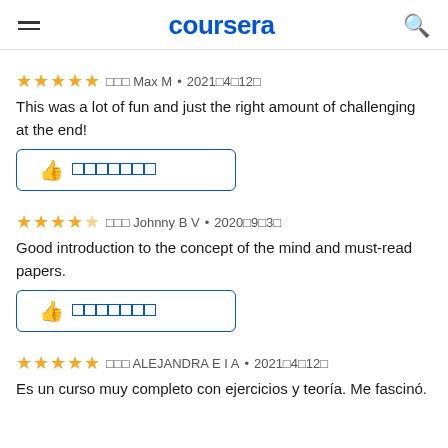coursera
★★★★★  由由由 Max M • 2021由4由12由
This was a lot of fun and just the right amount of challenging at the end!
[Figure (other): Helpful button with thumbs up icon and square placeholder text]
★★★★☆  由由由 Johnny B V • 2020由9由3由
Good introduction to the concept of the mind and must-read papers.
[Figure (other): Helpful button with thumbs up icon and square placeholder text]
★★★★★  由由由 ALEJANDRA E I A • 2021由4由12由
Es un curso muy completo con ejercicios y teoría. Me fascinó.